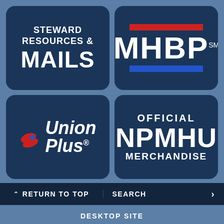[Figure (logo): Steward Resources & Mails tile — dark navy rounded square with white bold text reading STEWARD RESOURCES & MAILS]
[Figure (logo): MHBP logo tile — dark navy rounded square with red bar on top, large white MHBP text, blue bar on bottom]
[Figure (logo): Union Plus logo tile — dark navy rounded square with red/blue flag icon and italic white text Union Plus with registered trademark symbol]
[Figure (logo): Official NPMHU Merchandise tile — dark navy rounded square with white bold text OFFICIAL NPMHU MERCHANDISE]
^ RETURN TO TOP    SEARCH >
DESKTOP SITE